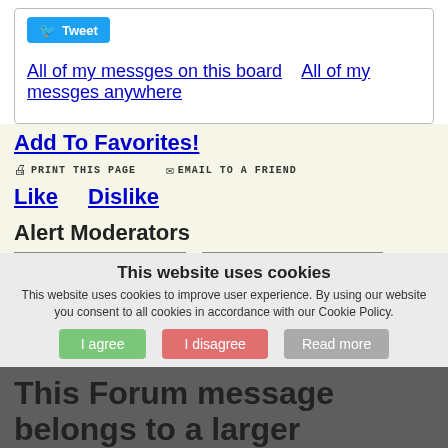Tweet
All of my messges on this board    All of my messges anywhere
Add To Favorites!
PRINT THIS PAGE   EMAIL TO A FRIEND
Like    Dislike
Alert Moderators
Alert: Bad Message   Alert: Good Message
DISCLAIMER
This website uses cookies
This website uses cookies to improve user experience. By using our website you consent to all cookies in accordance with our Cookie Policy.
I agree   I disagree   Read more
This Forum message belongs to a larger discussion thread. See the